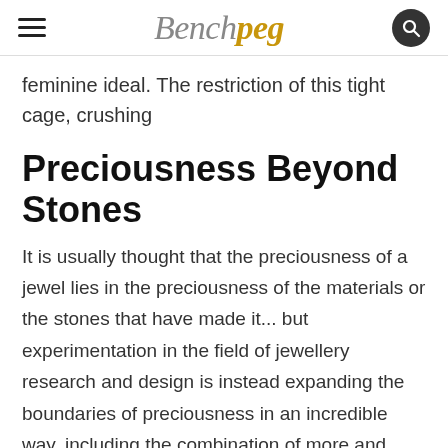Benchpeg
feminine ideal. The restriction of this tight cage, crushing
Preciousness Beyond Stones
It is usually thought that the preciousness of a jewel lies in the preciousness of the materials or the stones that have made it... but experimentation in the field of jewellery research and design is instead expanding the boundaries of preciousness in an incredible way, including the combination of more and more alternative materials which